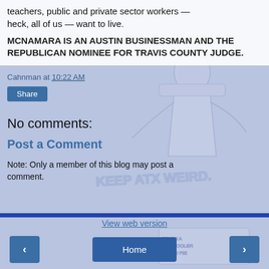teachers, public and private sector workers — heck, all of us — want to live.
MCNAMARA IS AN AUSTIN BUSINESSMAN AND THE REPUBLICAN NOMINEE FOR TRAVIS COUNTY JUDGE.
Cahnman at 10:22 AM
Share
No comments:
Post a Comment
Note: Only a member of this blog may post a comment.
[Figure (illustration): Background illustration showing a figure in a chair with 'KEEP ATX WEIRD' text visible, rendered in light blue/gray tones as a watermark-style overlay]
View web version
‹
Home
›